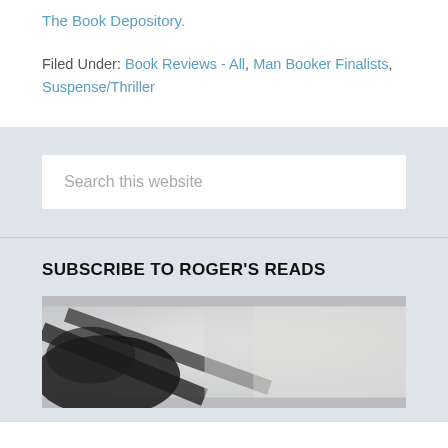The Book Depository.
Filed Under: Book Reviews - All, Man Booker Finalists, Suspense/Thriller
Search this website
SUBSCRIBE TO ROGER'S READS
[Figure (photo): Close-up blurred photo of glasses on a light background]